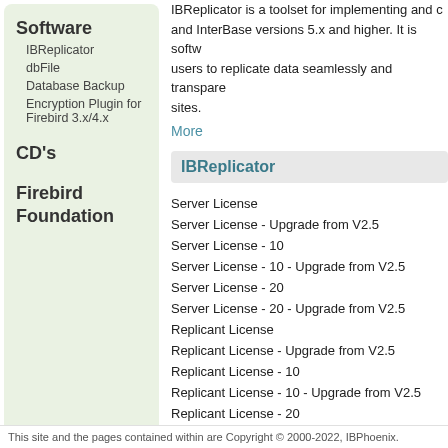IBReplicator is a toolset for implementing and c... and InterBase versions 5.x and higher. It is softw... users to replicate data seamlessly and transpare... sites.
More
IBReplicator
Server License
Server License - Upgrade from V2.5
Server License - 10
Server License - 10 - Upgrade from V2.5
Server License - 20
Server License - 20 - Upgrade from V2.5
Replicant License
Replicant License - Upgrade from V2.5
Replicant License - 10
Replicant License - 10 - Upgrade from V2.5
Replicant License - 20
Replicant License - 20 - Upgrade from V2.5
Software
IBReplicator
dbFile
Database Backup
Encryption Plugin for Firebird 3.x/4.x
CD's
Firebird Foundation
This site and the pages contained within are Copyright © 2000-2022, IBPhoenix.